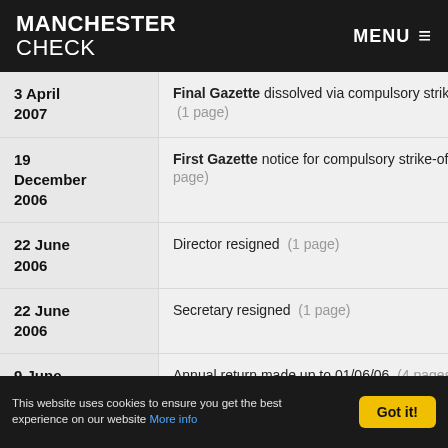MANCHESTER CHECK  MENU ≡
| Date | Filing |
| --- | --- |
| 3 April 2007 | Final Gazette dissolved via compulsory strike-off  (1 page) |
| 19 December 2006 | First Gazette notice for compulsory strike-off  (1 page) |
| 22 June 2006 | Director resigned  (1 page) |
| 22 June 2006 | Secretary resigned  (1 page) |
| 9 June 2006 | Annual return made up to 01/06/06  (4 pages) |
This website uses cookies to ensure you get the best experience on our website More info  Got it!